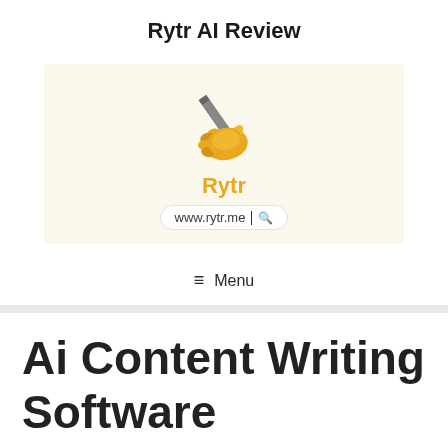Rytr AI Review
[Figure (logo): Rytr logo: hand holding a pencil on a cream/yellow background, with the brand name 'Rytr' in gold/orange and URL bar showing www.rytr.me]
≡ Menu
Ai Content Writing Software